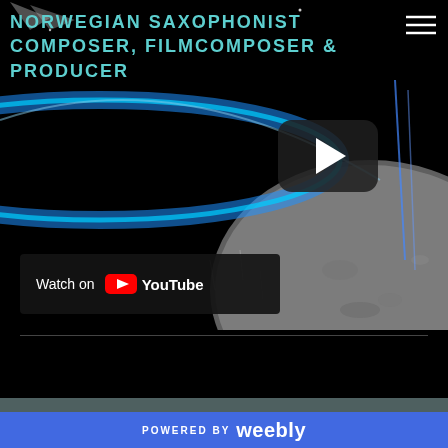NORWEGIAN SAXOPHONIST COMPOSER, FILMCOMPOSER & PRODUCER
[Figure (screenshot): Video thumbnail showing a space scene with a planet, blue light beams, and a YouTube play button overlay. Below the video is a 'Watch on YouTube' bar.]
POWERED BY weebly